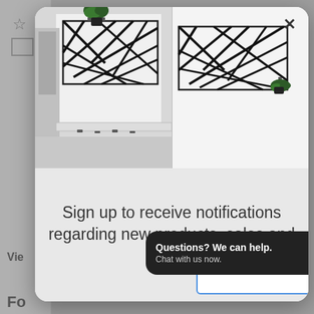[Figure (screenshot): Screenshot of a website with a modal popup. The modal shows two photos of black geometric metal wall art panels mounted on white walls with plants. Below the photos is a gray background with text 'Sign up to receive notifications regarding new products, sales and more!' and a dark chat widget at the bottom saying 'Questions? We can help. Chat with us now.' with a blue circle chat icon. A close X button is in the top right of the modal. The background shows partial website UI elements.]
Sign up to receive notifications regarding new products, sales and more!
Questions? We can help. Chat with us now.